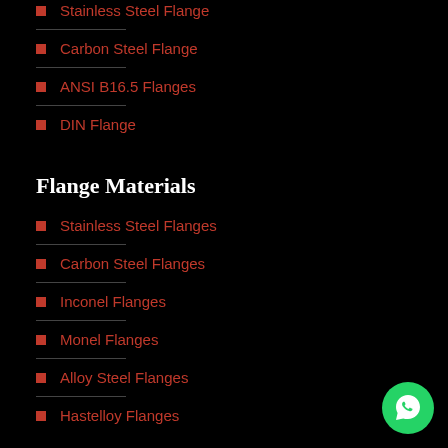Stainless Steel Flange
Carbon Steel Flange
ANSI B16.5 Flanges
DIN Flange
Flange Materials
Stainless Steel Flanges
Carbon Steel Flanges
Inconel Flanges
Monel Flanges
Alloy Steel Flanges
Hastelloy Flanges